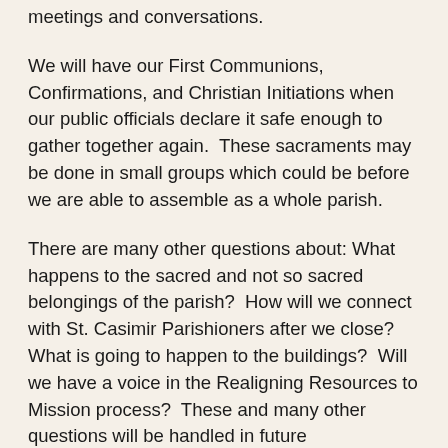meetings and conversations.
We will have our First Communions, Confirmations, and Christian Initiations when our public officials declare it safe enough to gather together again.  These sacraments may be done in small groups which could be before we are able to assemble as a whole parish.
There are many other questions about: What happens to the sacred and not so sacred belongings of the parish?  How will we connect with St. Casimir Parishioners after we close?  What is going to happen to the buildings?  Will we have a voice in the Realigning Resources to Mission process?  These and many other questions will be handled in future communications.  For now I just wanted to deliver the hard sad news about closing.  As time progresses the latest updates will be posted on our